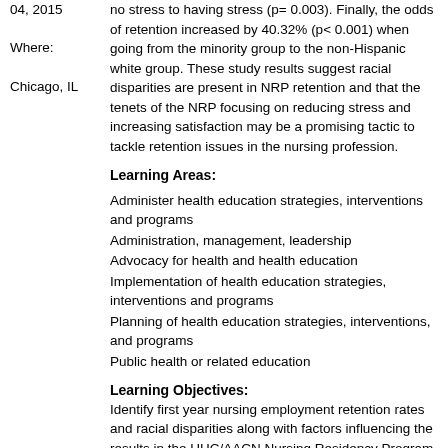04, 2015
Where:
Chicago, IL
no stress to having stress (p= 0.003). Finally, the odds of retention increased by 40.32% (p< 0.001) when going from the minority group to the non-Hispanic white group. These study results suggest racial disparities are present in NRP retention and that the tenets of the NRP focusing on reducing stress and increasing satisfaction may be a promising tactic to tackle retention issues in the nursing profession.
Learning Areas:
Administer health education strategies, interventions and programs
Administration, management, leadership
Advocacy for health and health education
Implementation of health education strategies, interventions and programs
Planning of health education strategies, interventions, and programs
Public health or related education
Learning Objectives:
Identify first year nursing employment retention rates and racial disparities along with factors influencing the results in the UHC/AACN Nursing Residency Program